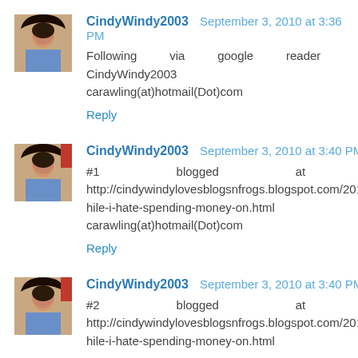CindyWindy2003  September 3, 2010 at 3:36 PM
Following via google reader CindyWindy2003 carawling(at)hotmail(Dot)com
Reply
CindyWindy2003  September 3, 2010 at 3:40 PM
#1 blogged at http://cindywindylovesblogsnfrogs.blogspot.com/2010/08/while-i-hate-spending-money-on.html carawling(at)hotmail(Dot)com
Reply
CindyWindy2003  September 3, 2010 at 3:40 PM
#2 blogged at http://cindywindylovesblogsnfrogs.blogspot.com/2010/08/while-i-hate-spending-money-on.html